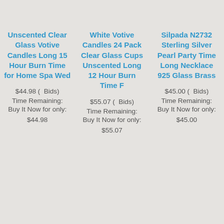Unscented Clear Glass Votive Candles Long 15 Hour Burn Time for Home Spa Wed
$44.98 ( Bids)
Time Remaining:
Buy It Now for only:
$44.98
White Votive Candles 24 Pack Clear Glass Cups Unscented Long 12 Hour Burn Time F
$55.07 ( Bids)
Time Remaining:
Buy It Now for only:
$55.07
Silpada N2732 Sterling Silver Pearl Party Time Long Necklace 925 Glass Brass
$45.00 ( Bids)
Time Remaining:
Buy It Now for only:
$45.00